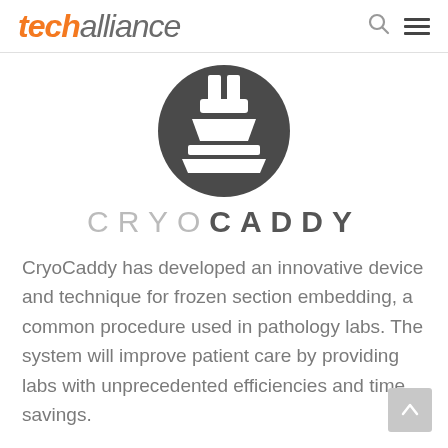techalliance
[Figure (logo): CryoCaddy logo: a dark gray circle containing a stylized laboratory/medical device icon in white]
CRYOCADDY
CryoCaddy has developed an innovative device and technique for frozen section embedding, a common procedure used in pathology labs. The system will improve patient care by providing labs with unprecedented efficiencies and time savings.